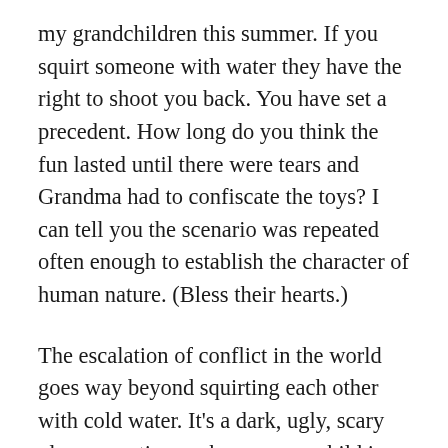my grandchildren this summer. If you squirt someone with water they have the right to shoot you back. You have set a precedent. How long do you think the fun lasted until there were tears and Grandma had to confiscate the toys? I can tell you the scenario was repeated often enough to establish the character of human nature. (Bless their hearts.)
The escalation of conflict in the world goes way beyond squirting each other with cold water. It's a dark, ugly, scary place sometimes where even a child in his momma's womb is not safe.
Sometimes I get the feeling some people think our countries are working on some sort of group project that